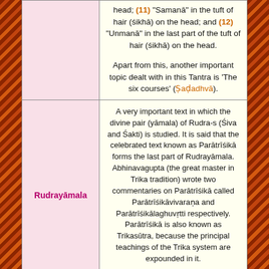| Name | Description |
| --- | --- |
|  | head; (11) "Samanā" in the tuft of hair (śikhā) on the head; and (12) "Unmanā" in the last part of the tuft of hair (śikhā) on the head.

Apart from this, another important topic dealt with in this Tantra is 'The six courses' (Ṣaḍadhvā). |
| Rudrayāmala | A very important text in which the divine pair (yāmala) of Rudra-s (Śiva and Śakti) is studied. It is said that the celebrated text known as Parātrīśikā forms the last part of Rudrayāmala. Abhinavagupta (the great master in Trika tradition) wrote two commentaries on Parātrīśikā called Parātrīśikāvivaraṇa and Parātrīśikālaghuvṛtti respectively. Parātrīśikā is also known as Trikasūtra, because the principal teachings of the Trika system are expounded in it.

Besides, as I mentioned before, |